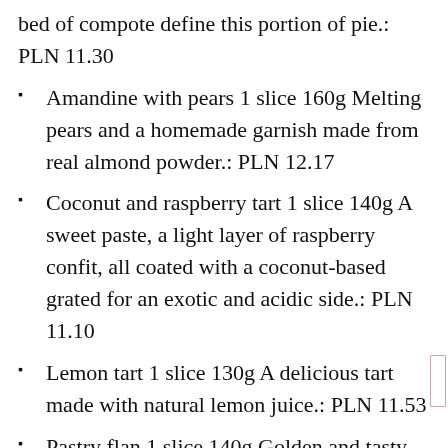bed of compote define this portion of pie.: PLN 11.30
Amandine with pears 1 slice 160g Melting pears and a homemade garnish made from real almond powder.: PLN 12.17
Coconut and raspberry tart 1 slice 140g A sweet paste, a light layer of raspberry confit, all coated with a coconut-based grated for an exotic and acidic side.: PLN 11.10
Lemon tart 1 slice 130g A delicious tart made with natural lemon juice.: PLN 11.53
Pastry flan 1 slice 140g Golden and tasty with fresh eggs, this pastry custard is made in the pure pastry tradition.: PLN 9.32